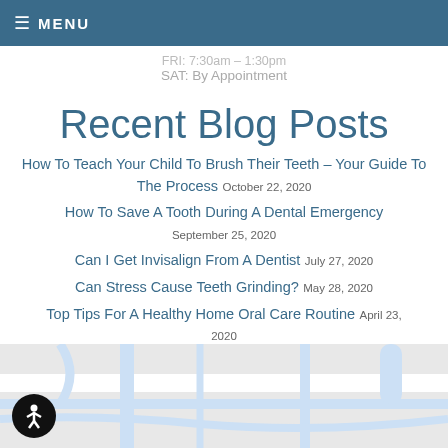≡ MENU
FRI: 7:30am – 1:30pm
SAT: By Appointment
Recent Blog Posts
How To Teach Your Child To Brush Their Teeth – Your Guide To The Process October 22, 2020
How To Save A Tooth During A Dental Emergency September 25, 2020
Can I Get Invisalign From A Dentist July 27, 2020
Can Stress Cause Teeth Grinding? May 28, 2020
Top Tips For A Healthy Home Oral Care Routine April 23, 2020
[Figure (map): Street map showing local area with roads]